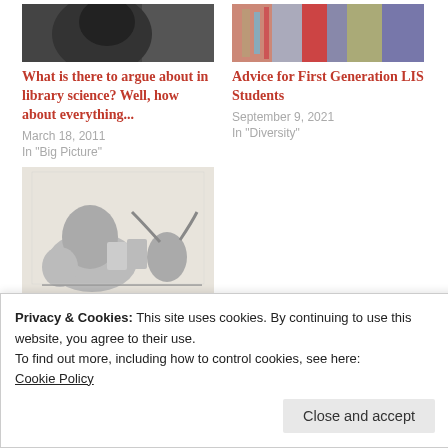[Figure (photo): Dark grayscale photo at top left, partial view of a face]
[Figure (photo): Colorful photo of bookshelves at top right]
What is there to argue about in library science? Well, how about everything...
March 18, 2011
In "Big Picture"
Advice for First Generation LIS Students
September 9, 2021
In "Diversity"
[Figure (illustration): Black and white vintage illustration of cats reading books]
Instruction Instruction Part 1: Why Library
Privacy & Cookies: This site uses cookies. By continuing to use this website, you agree to their use.
To find out more, including how to control cookies, see here:
Cookie Policy
Close and accept